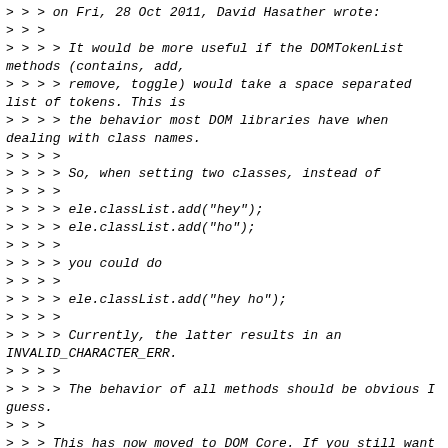> > > on Fri, 28 Oct 2011, David Hasather wrote:
> > >
> > > > It would be more useful if the DOMTokenList methods (contains, add,
> > > > remove, toggle) would take a space separated list of tokens. This is
> > > > the behavior most DOM libraries have when dealing with class names.
> > > >
> > > > So, when setting two classes, instead of
> > > >
> > > > ele.classList.add("hey");
> > > > ele.classList.add("ho");
> > > >
> > > > you could do
> > > >
> > > > ele.classList.add("hey ho");
> > > >
> > > > Currently, the latter results in an INVALID_CHARACTER_ERR.
> > > >
> > > > The behavior of all methods should be obvious I guess.
> > >
> > > This has now moved to DOM Core. If you still want this I recommend filing
> > > a bug on that spec.
> > >
> > > http://dvcs.w3.org/hg/domcore/raw-file/tip/Overview.html
> > >